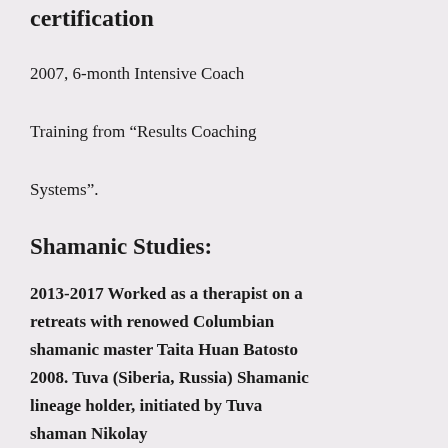certification
2007, 6-month Intensive Coach Training from “Results Coaching Systems”.
Shamanic Studies:
2013-2017 Worked as a therapist on a retreats with renowed Columbian shamanic master Taita Huan Batosto 2008. Tuva (Siberia, Russia) Shamanic lineage holder, initiated by Tuva shaman Nikolay Orzhak (www.khoomeiji.narod.ru/kho